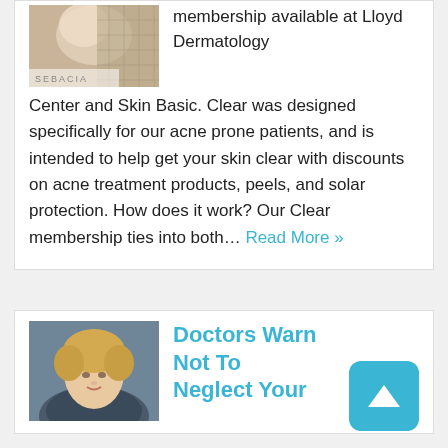membership available at Lloyd Dermatology Center and Skin Basic. Clear was designed specifically for our acne prone patients, and is intended to help get your skin clear with discounts on acne treatment products, peels, and solar protection. How does it work? Our Clear membership ties into both… Read More »
[Figure (photo): Product image with SEBACIA branding label at bottom left]
[Figure (photo): Portrait photo of a blonde woman doctor against a blue/grey background]
Doctors Warn Not To Neglect Your